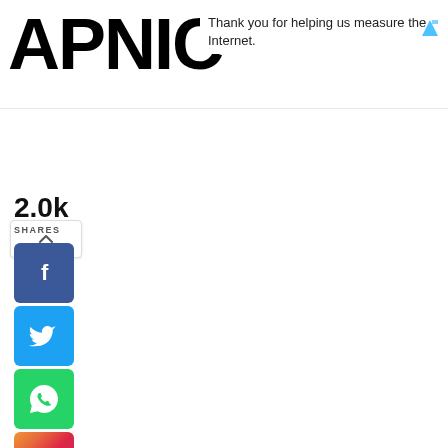APNIC — Thank you for helping us measure the Internet.
2.0k SHARES
[Figure (infographic): Social share buttons: Facebook, Twitter, WhatsApp, Instagram]